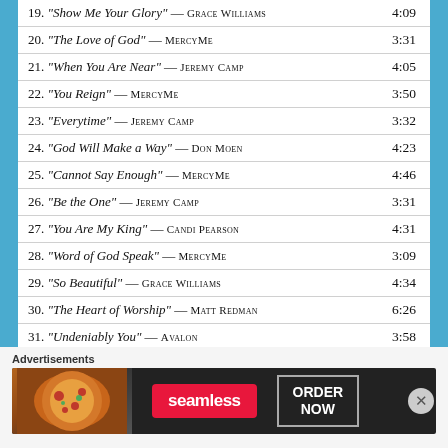| Track | Time |
| --- | --- |
| 19. “Show Me Your Glory” — GRACE WILLIAMS | 4:09 |
| 20. “The Love of God” — MERCYME | 3:31 |
| 21. “When You Are Near” — JEREMY CAMP | 4:05 |
| 22. “You Reign” — MERCYME | 3:50 |
| 23. “Everytime” — JEREMY CAMP | 3:32 |
| 24. “God Will Make a Way” — DON MOEN | 4:23 |
| 25. “Cannot Say Enough” — MERCYME | 4:46 |
| 26. “Be the One” — JEREMY CAMP | 3:31 |
| 27. “You Are My King” — CANDI PEARSON | 4:31 |
| 28. “Word of God Speak” — MERCYME | 3:09 |
| 29. “So Beautiful” — GRACE WILLIAMS | 4:34 |
| 30. “The Heart of Worship” — MATT REDMAN | 6:26 |
| 31. “Undeniably You” — AVALON | 3:58 |
| 32. “Blessed Be Your Name” — ROBIN MARK | 3:53 |
| 33. “Feels Like” — JEREMY CAMP | 4:19 |
Advertisements
[Figure (photo): Seamless food delivery advertisement banner with pizza image, Seamless red logo, and ORDER NOW button]